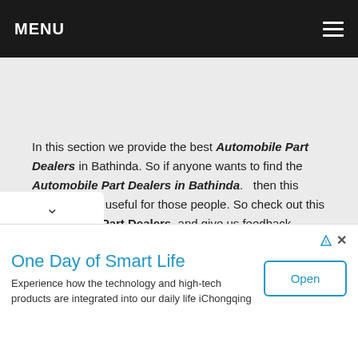MENU
In this section we provide the best Automobile Part Dealers in Bathinda. So if anyone wants to find the Automobile Part Dealers in Bathinda.   then this article is very useful for those people. So check out this Automobile Part Dealers  and give us feedback.
One Day of Smart Life
Experience how the technology and high-tech products are integrated into our daily life iChongqing